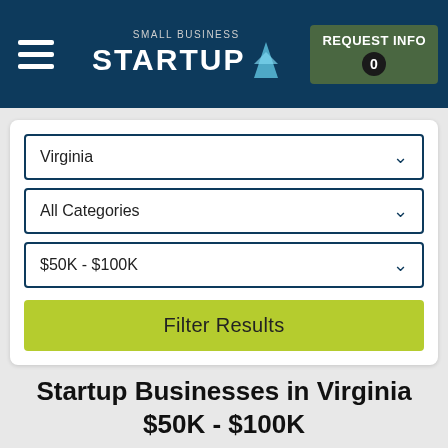Small Business Startup | REQUEST INFO 0
Virginia
All Categories
$50K - $100K
Filter Results
Startup Businesses in Virginia $50K - $100K
Sort by Featured
[Figure (logo): FIT BODY logo text in bold italic black letters]